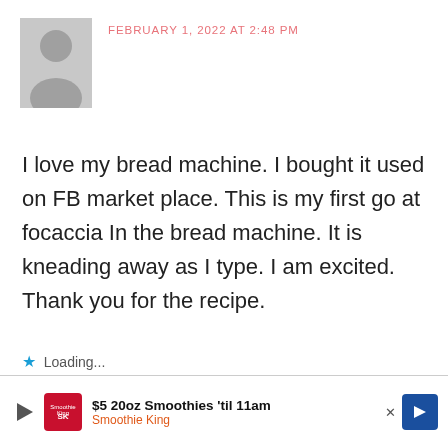[Figure (illustration): Anonymous user avatar placeholder – grey silhouette of a person]
FEBRUARY 1, 2022 AT 2:48 PM
I love my bread machine. I bought it used on FB market place. This is my first go at focaccia In the bread machine. It is kneading away as I type. I am excited. Thank you for the recipe.
Loading...
Reply
Leave a Reply
[Figure (infographic): Advertisement banner: $5 20oz Smoothies 'til 11am – Smoothie King, with play button, logo, and directional arrow icon]